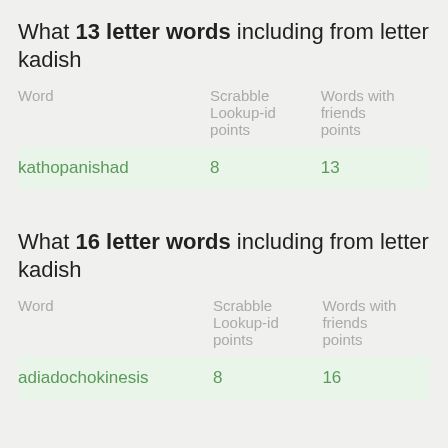What 13 letter words including from letter kadish
| Word | Scrabble Lookup-id points | Words with friends points |
| --- | --- | --- |
| kathopanishad | 8 | 13 |
What 16 letter words including from letter kadish
| Word | Scrabble Lookup-id points | Words with friends points |
| --- | --- | --- |
| adiadochokinesis | 8 | 16 |